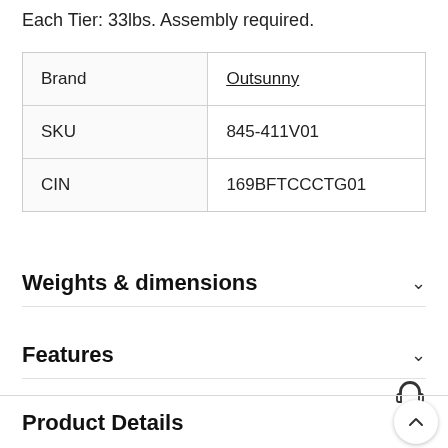Each Tier: 33lbs. Assembly required.
| Brand | Outsunny |
| SKU | 845-411V01 |
| CIN | 169BFTCCCTG01 |
Weights & dimensions
Features
Product Details